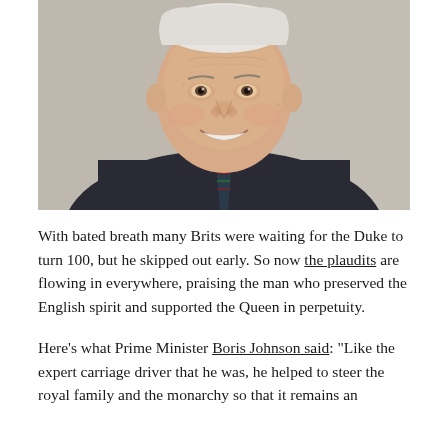[Figure (photo): Portrait photograph of an elderly smiling man in a dark suit and striped tie, likely Prince Philip, Duke of Edinburgh, photographed outdoors with a blurred stone background.]
With bated breath many Brits were waiting for the Duke to turn 100, but he skipped out early. So now the plaudits are flowing in everywhere, praising the man who preserved the English spirit and supported the Queen in perpetuity.
Here's what Prime Minister Boris Johnson said: "Like the expert carriage driver that he was, he helped to steer the royal family and the monarchy so that it remains an